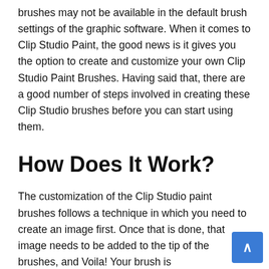brushes may not be available in the default brush settings of the graphic software. When it comes to Clip Studio Paint, the good news is it gives you the option to create and customize your own Clip Studio Paint Brushes. Having said that, there are a good number of steps involved in creating these Clip Studio brushes before you can start using them.
How Does It Work?
The customization of the Clip Studio paint brushes follows a technique in which you need to create an image first. Once that is done, that image needs to be added to the tip of the brushes, and Voila! Your brush is